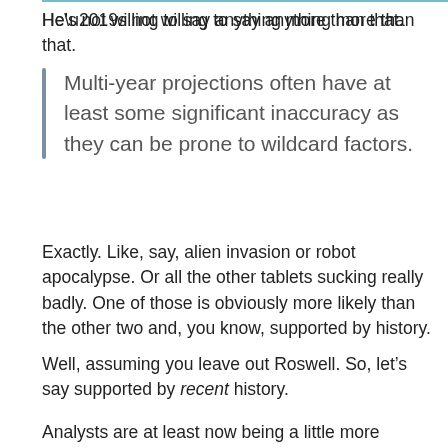He’s not willing to say anything more than that.
Multi-year projections often have at least some significant inaccuracy as they can be prone to wildcard factors.
Exactly. Like, say, alien invasion or robot apocalypse. Or all the other tablets sucking really badly. One of those is obviously more likely than the other two and, you know, supported by history.
Well, assuming you leave out Roswell. So, let’s say supported by recent history.
Analysts are at least now being a little more careful